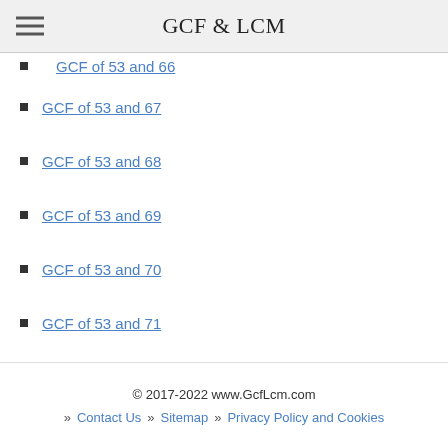GCF & LCM
GCF of 53 and 66 (partial, clipped)
GCF of 53 and 67
GCF of 53 and 68
GCF of 53 and 69
GCF of 53 and 70
GCF of 53 and 71
GCF of 53 and 72
GCF of 53 and 73
© 2017-2022 www.GcfLcm.com » Contact Us » Sitemap » Privacy Policy and Cookies